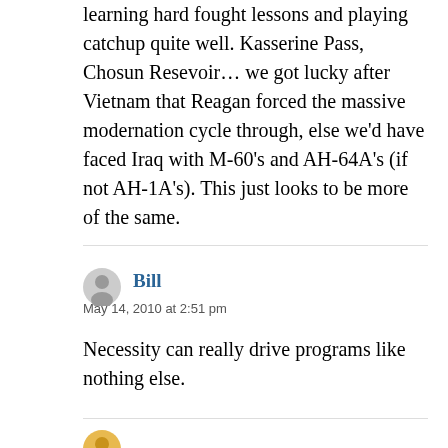learning hard fought lessons and playing catchup quite well. Kasserine Pass, Chosun Resevoir… we got lucky after Vietnam that Reagan forced the massive modernation cycle through, else we'd have faced Iraq with M-60's and AH-64A's (if not AH-1A's). This just looks to be more of the same.
Bill
May 14, 2010 at 2:51 pm
Necessity can really drive programs like nothing else.